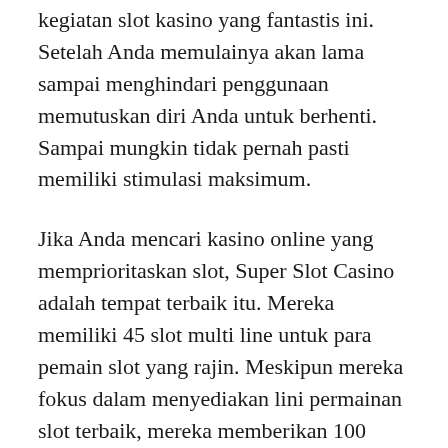kegiatan slot kasino yang fantastis ini. Setelah Anda memulainya akan lama sampai menghindari penggunaan memutuskan diri Anda untuk berhenti. Sampai mungkin tidak pernah pasti memiliki stimulasi maksimum.
Jika Anda mencari kasino online yang memprioritaskan slot, Super Slot Casino adalah tempat terbaik itu. Mereka memiliki 45 slot multi line untuk para pemain slot yang rajin. Meskipun mereka fokus dalam menyediakan lini permainan slot terbaik, mereka memberikan 100 permainan kasino lainnya bagi mereka yang ingin berpikir tentang istirahat dan benar-benar ingin mencoba mmorpg menarik lainnya.
Fitur lain dari slot kasino online bisa jadi adalah